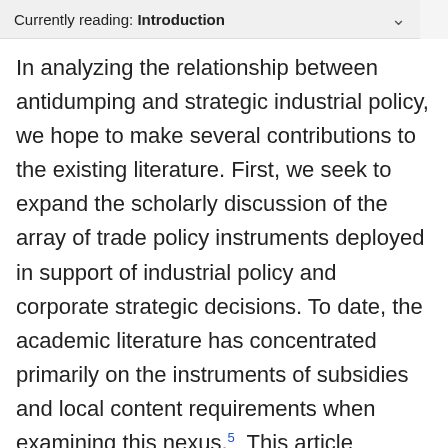Currently reading: Introduction
In analyzing the relationship between antidumping and strategic industrial policy, we hope to make several contributions to the existing literature. First, we seek to expand the scholarly discussion of the array of trade policy instruments deployed in support of industrial policy and corporate strategic decisions. To date, the academic literature has concentrated primarily on the instruments of subsidies and local content requirements when examining this nexus.5 This article expands this discussion to include antidumping measures.
We expand upon the conventional account of how antidumping duties interact with industrial policy. The standard approach suggests that antidumping duties function in much the same way as other trade-related instruments of industrial policy. The similarity is that the...